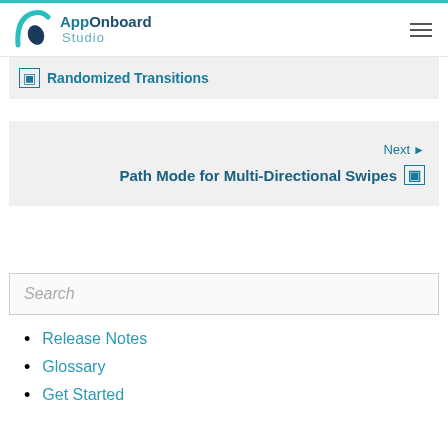[Figure (logo): AppOnboard Studio logo with teal/dark blue icon and text]
Randomized Transitions
Next▶ Path Mode for Multi-Directional Swipes
Search
Release Notes
Glossary
Get Started